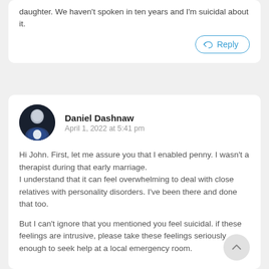daughter. We haven't spoken in ten years and I'm suicidal about it.
Reply
Daniel Dashnaw
April 1, 2022 at 5:41 pm
Hi John. First, let me assure you that I enabled penny. I wasn't a therapist during that early marriage.
I understand that it can feel overwhelming to deal with close relatives with personality disorders. I've been there and done that too.
But I can't ignore that you mentioned you feel suicidal. if these feelings are intrusive, please take these feelings seriously enough to seek help at a local emergency room.